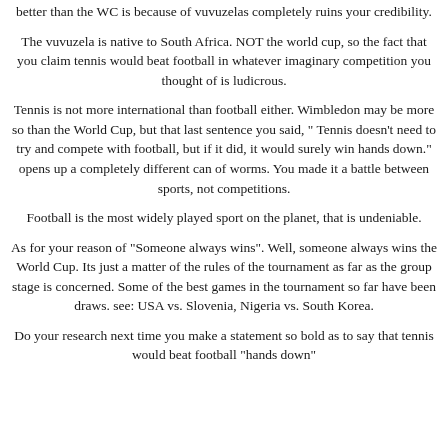better than the WC is because of vuvuzelas completely ruins your credibility.
The vuvuzela is native to South Africa. NOT the world cup, so the fact that you claim tennis would beat football in whatever imaginary competition you thought of is ludicrous.
Tennis is not more international than football either. Wimbledon may be more so than the World Cup, but that last sentence you said, " Tennis doesn't need to try and compete with football, but if it did, it would surely win hands down." opens up a completely different can of worms. You made it a battle between sports, not competitions.
Football is the most widely played sport on the planet, that is undeniable.
As for your reason of "Someone always wins". Well, someone always wins the World Cup. Its just a matter of the rules of the tournament as far as the group stage is concerned. Some of the best games in the tournament so far have been draws. see: USA vs. Slovenia, Nigeria vs. South Korea.
Do your research next time you make a statement so bold as to say that tennis would beat football "hands down"